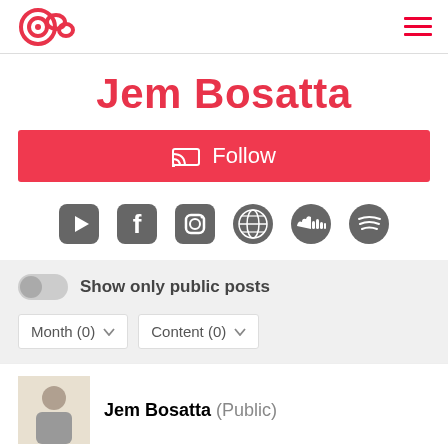Jem Bosatta profile page header with logo and menu
Jem Bosatta
Follow
[Figure (illustration): Row of social media icons: YouTube, Facebook, Instagram, Globe/Website, SoundCloud, Spotify]
Show only public posts
Month (0)   Content (0)
Jem Bosatta (Public)